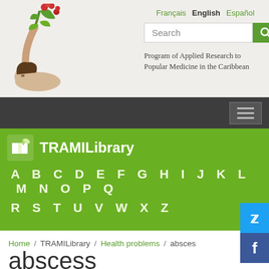[Figure (logo): Illustration of a person reaching up to pick flowers from a plant with red flowers and green leaves — TRAMI program logo]
Français  English  Español
Search
Program of Applied Research to Popular Medicine in the Caribbean
[Figure (other): Hamburger menu button icon (three horizontal lines) on dark navigation bar]
TRAMILibrary
A  B  C  D  E  F  G  H  I  J  K  L  M  N  O  P  Q
R  S  T  U  V  W  X  Z
Home / TRAMILibrary / Health problems / abscess
abscess